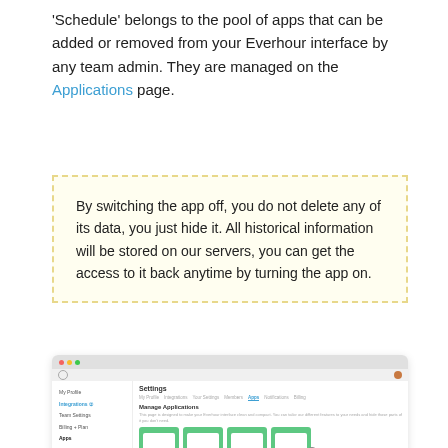'Schedule' belongs to the pool of apps that can be added or removed from your Everhour interface by any team admin. They are managed on the Applications page.
By switching the app off, you do not delete any of its data, you just hide it. All historical information will be stored on our servers, you can get the access to it back anytime by turning the app on.
[Figure (screenshot): Screenshot of the Everhour Settings page showing the Apps/Manage Applications section with four green app cards and a sidebar navigation.]